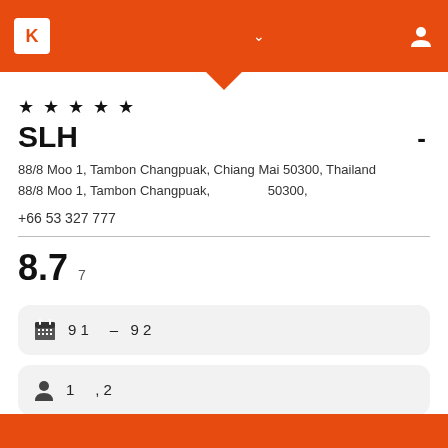K [logo] - [chevron] - [user icon]
★ ★ ★ ★ ★
SLH -
88/8 Moo 1, Tambon Changpuak, Chiang Mai 50300, Thailand
88/8 Moo 1, Tambon Changpuak, 50300,
+66 53 327 777
8.7  7
9 1 - 9 2
1 , 2